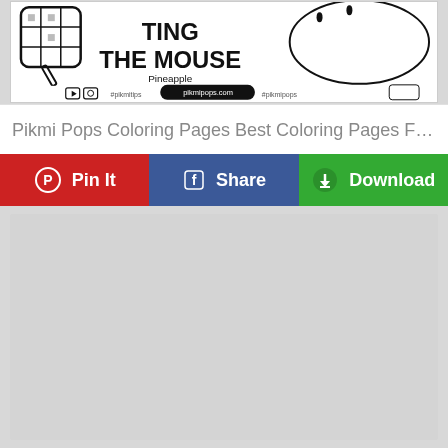[Figure (illustration): Coloring page image showing 'Ting The Mouse' with pineapple theme, black and white line art, with pikmipops.com branding and social media icons]
Pikmi Pops Coloring Pages Best Coloring Pages For Ki...
Pin It  Share  Download
[Figure (other): Gray advertisement placeholder area]